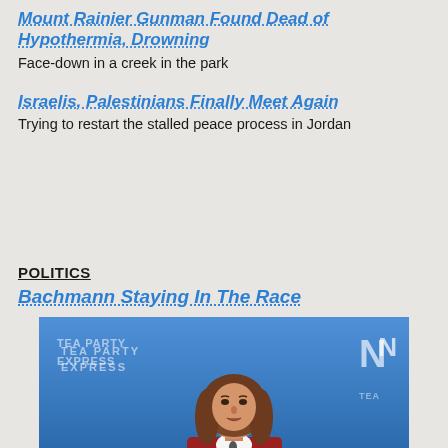Mount Rainier Gunman Found Dead of Hypothermia, Drowning
Face-down in a creek in the park
Israelis, Palestinians Finally Meet Again
Trying to restart the stalled peace process in Jordan
POLITICS
Bachmann Staying In The Race
[Figure (photo): Woman with brown hair in red jacket speaking at a Tea Party Express event with blue background]